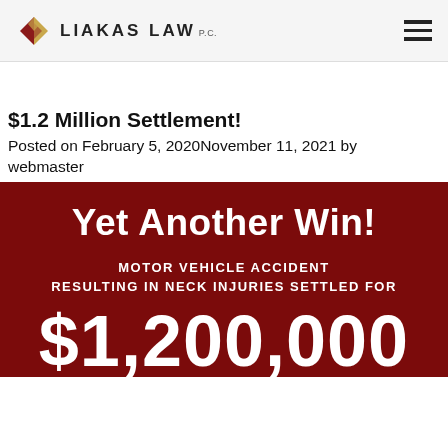LIAKAS LAW P.C.
$1.2 Million Settlement!
Posted on February 5, 2020November 11, 2021 by webmaster
[Figure (infographic): Dark red promotional banner reading 'Yet Another Win!' with subtitle 'MOTOR VEHICLE ACCIDENT RESULTING IN NECK INJURIES SETTLED FOR' and large text '$1,200,000']